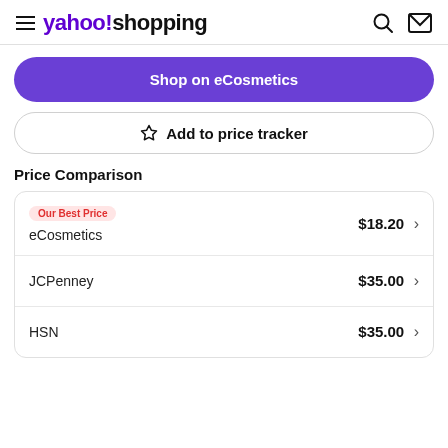yahoo!shopping
Shop on eCosmetics
☆ Add to price tracker
Price Comparison
| Retailer | Price |
| --- | --- |
| eCosmetics (Our Best Price) | $18.20 |
| JCPenney | $35.00 |
| HSN | $35.00 |